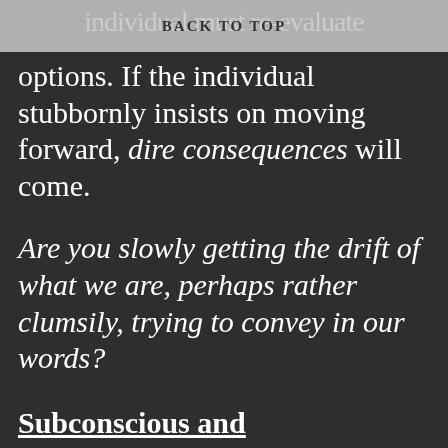BACK TO TOP
options. If the individual stubbornly insists on moving forward, dire consequences will come.
Are you slowly getting the drift of what we are, perhaps rather clumsily, trying to convey in our words?
Subconscious and